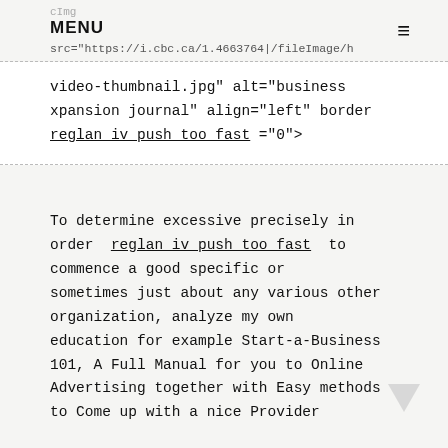MENU  ≡
src="https://i.cbc.ca/1.4663764|/fileImage/h
video-thumbnail.jpg" alt="business xpansion journal" align="left" border reglan iv push too fast ="0">
To determine excessive precisely in order reglan iv push too fast to commence a good specific or sometimes just about any various other organization, analyze my own education for example Start-a-Business 101, A Full Manual for you to Online Advertising together with Easy methods to Come up with a nice Provider